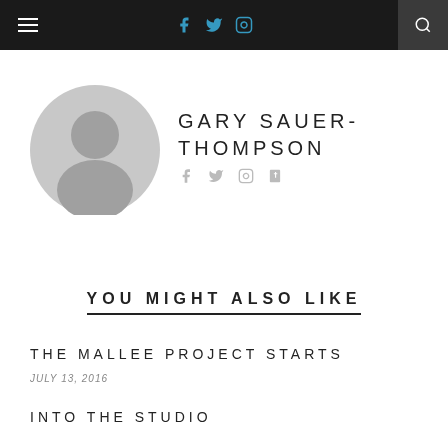Navigation bar with menu, social icons (Facebook, Twitter, Instagram), and search
[Figure (illustration): Grey circular avatar/profile placeholder image showing a silhouette of a person]
GARY SAUER-THOMPSON
Social icons: Facebook, Twitter, Instagram, Tumblr
YOU MIGHT ALSO LIKE
THE MALLEE PROJECT STARTS
JULY 13, 2016
INTO THE STUDIO